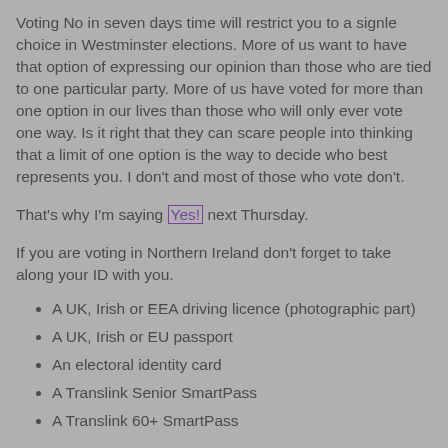Voting No in seven days time will restrict you to a signle choice in Westminster elections. More of us want to have that option of expressing our opinion than those who are tied to one particular party. More of us have voted for more than one option in our lives than those who will only ever vote one way. Is it right that they can scare people into thinking that a limit of one option is the way to decide who best represents you. I don't and most of those who vote don't.
That's why I'm saying Yes! next Thursday.
If you are voting in Northern Ireland don't forget to take along your ID with you.
A UK, Irish or EEA driving licence (photographic part)
A UK, Irish or EU passport
An electoral identity card
A Translink Senior SmartPass
A Translink 60+ SmartPass